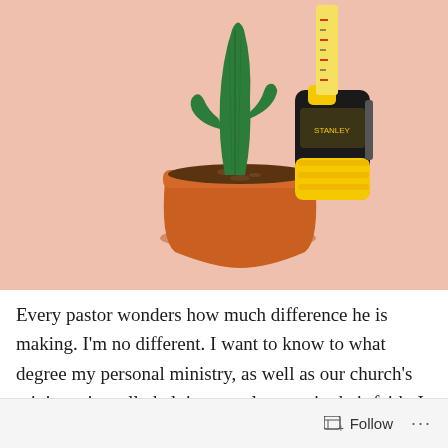[Figure (photo): A potted cactus in a terracotta pot next to a tape measure, on a light salmon/pink background.]
Every pastor wonders how much difference he is making. I'm no different. I want to know to what degree my personal ministry, as well as our church's ministry, is really helping people grow in their faith. I ask questions like:
Follow ···